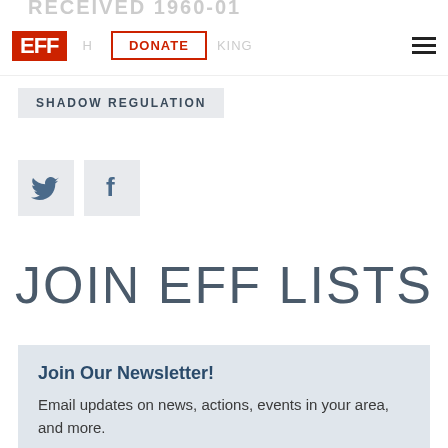EFF — DONATE — (navigation bar with hamburger menu)
SHADOW REGULATION
[Figure (illustration): Twitter bird icon and Facebook 'f' icon in grey square buttons]
JOIN EFF LISTS
Join Our Newsletter!
Email updates on news, actions, events in your area, and more.